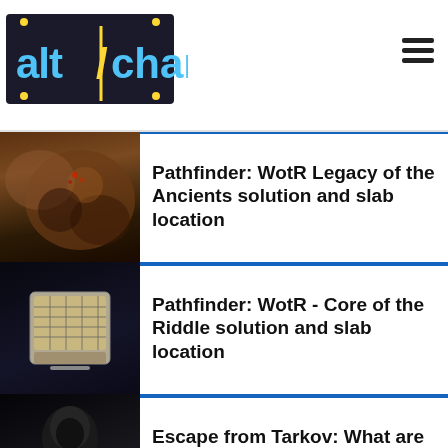AltChar logo and hamburger menu
[Figure (photo): Game screenshot thumbnail for Pathfinder WotR Legacy of the Ancients article]
Pathfinder: WotR Legacy of the Ancients solution and slab location
[Figure (photo): Game screenshot thumbnail for Pathfinder WotR Core of the Riddle article, showing a tablet/puzzle]
Pathfinder: WotR - Core of the Riddle solution and slab location
[Figure (photo): Dark hooded figure with 'ALL ABOUT FENCE TASKS' red text overlay for Escape from Tarkov article]
Escape from Tarkov: What are Fence Scav tasks and how to get them
Related Stories
[Figure (photo): Thumbnail for Rogue Company Trench article]
Rogue Company: Trench gets visual